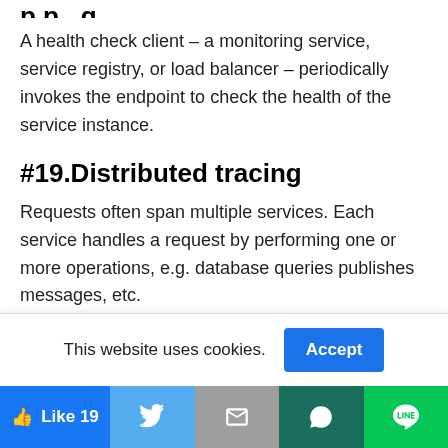A health check client – a monitoring service, service registry, or load balancer – periodically invokes the endpoint to check the health of the service instance.
#19.Distributed tracing
Requests often span multiple services. Each service handles a request by performing one or more operations, e.g. database queries publishes messages, etc.
This website uses cookies.
Like 19 | Twitter | Gmail | WhatsApp | Line